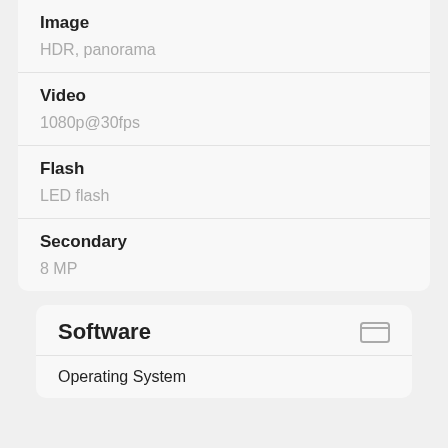| Feature | Value |
| --- | --- |
| Image | HDR, panorama |
| Video | 1080p@30fps |
| Flash | LED flash |
| Secondary | 8 MP |
Software
Operating System